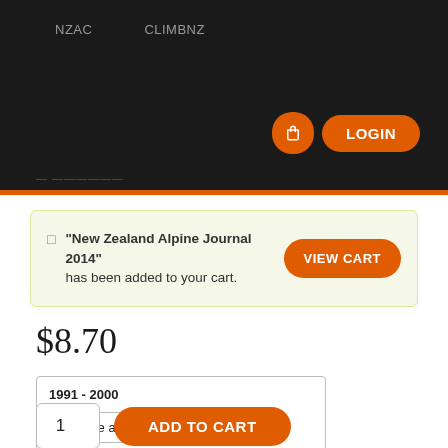NZAC   CLIMBNZ
LOGIN
"New Zealand Alpine Journal 2014" has been added to your cart.
VIEW CART
$8.70
1991 - 2000
Choose an option
ADD TO CART